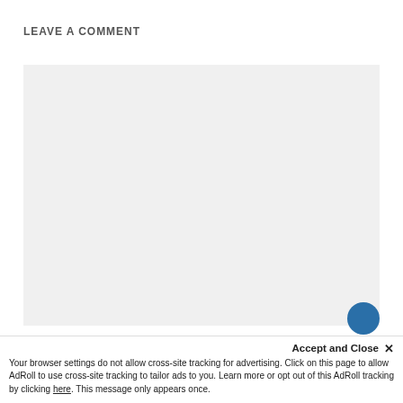LEAVE A COMMENT
[Figure (other): Empty comment text area with light gray background]
Accept and Close ×
Your browser settings do not allow cross-site tracking for advertising. Click on this page to allow AdRoll to use cross-site tracking to tailor ads to you. Learn more or opt out of this AdRoll tracking by clicking here. This message only appears once.